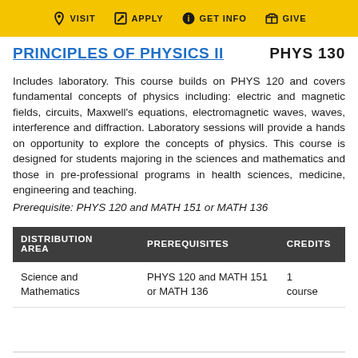VISIT  APPLY  GET INFO  GIVE
PRINCIPLES OF PHYSICS II  PHYS 130
Includes laboratory. This course builds on PHYS 120 and covers fundamental concepts of physics including: electric and magnetic fields, circuits, Maxwell's equations, electromagnetic waves, waves, interference and diffraction. Laboratory sessions will provide a hands on opportunity to explore the concepts of physics. This course is designed for students majoring in the sciences and mathematics and those in pre-professional programs in health sciences, medicine, engineering and teaching. Prerequisite: PHYS 120 and MATH 151 or MATH 136
| DISTRIBUTION AREA | PREREQUISITES | CREDITS |
| --- | --- | --- |
| Science and Mathematics | PHYS 120 and MATH 151 or MATH 136 | 1 course |